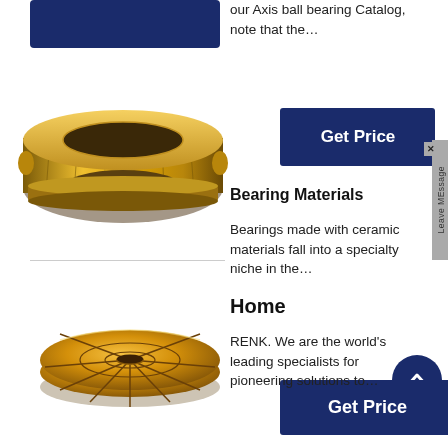[Figure (photo): Dark blue banner/rectangle in top left area]
our Axis ball bearing Catalog, note that the…
[Figure (photo): Gold/brass cylindrical sleeve bearing ring viewed from above at an angle]
[Figure (other): Get Price button (dark blue)]
Bearing Materials
Bearings made with ceramic materials fall into a specialty niche in the…
[Figure (photo): Gold/brass thrust bearing disc with geometric pattern, viewed from above]
[Figure (other): Get Price button (dark blue)]
Home
RENK. We are the world's leading specialists for pioneering solutions to…